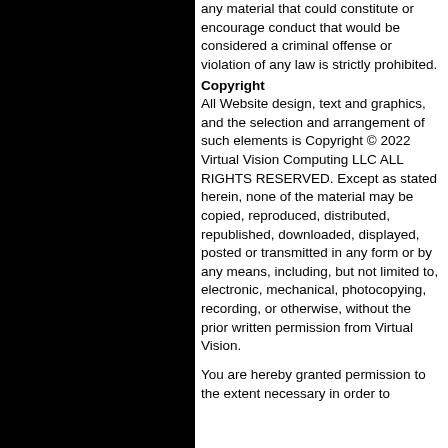any material that could constitute or encourage conduct that would be considered a criminal offense or violation of any law is strictly prohibited.
Copyright
All Website design, text and graphics, and the selection and arrangement of such elements is Copyright © 2022 Virtual Vision Computing LLC ALL RIGHTS RESERVED. Except as stated herein, none of the material may be copied, reproduced, distributed, republished, downloaded, displayed, posted or transmitted in any form or by any means, including, but not limited to, electronic, mechanical, photocopying, recording, or otherwise, without the prior written permission from Virtual Vision.
You are hereby granted permission to the extent necessary in order to